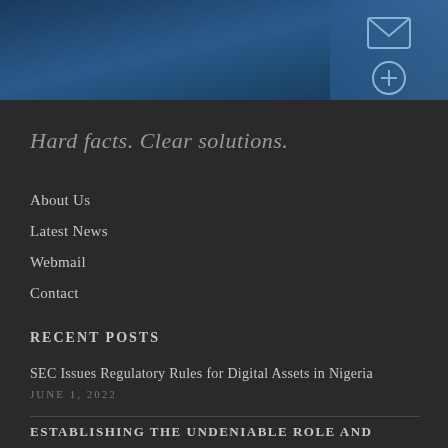[Figure (illustration): Dark blue banner with email and edit icon symbols in lighter blue panel on the right side]
Hard facts. Clear solutions.
About Us
Latest News
Webmail
Contact
RECENT POSTS
SEC Issues Regulatory Rules for Digital Assets in Nigeria
JUNE 1, 2022
ESTABLISHING THE UNDENIABLE ROLE AND